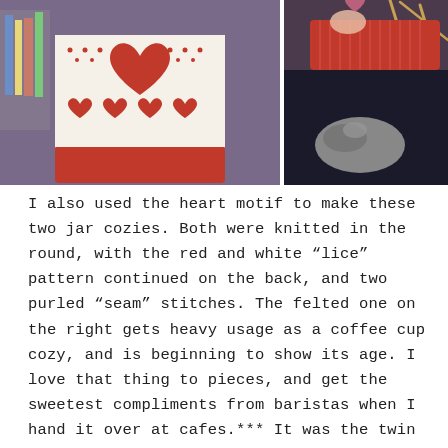[Figure (photo): Two photos side by side. Left: a knitted jar cozy with a red and white heart motif pattern on a purple surface. Right: a work-in-progress knitting project in red/pink yarn on needles, with a cat visible underneath dark fabric.]
I also used the heart motif to make these two jar cozies. Both were knitted in the round, with the red and white “lice” pattern continued on the back, and two purled “seam” stitches. The felted one on the right gets heavy usage as a coffee cup cozy, and is beginning to show its age. I love that thing to pieces, and get the sweetest compliments from baristas when I hand it over at cafes.*** It was the twin of the cozy on the left, but the white yarn was tinted pink during the